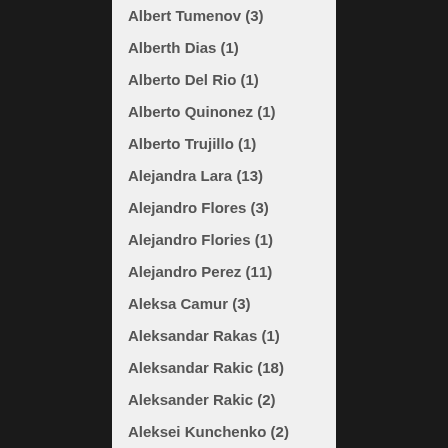Albert Tumenov (3)
Alberth Dias (1)
Alberto Del Rio (1)
Alberto Quinonez (1)
Alberto Trujillo (1)
Alejandra Lara (13)
Alejandro Flores (3)
Alejandro Flories (1)
Alejandro Perez (11)
Aleksa Camur (3)
Aleksandar Rakas (1)
Aleksandar Rakic (18)
Aleksander Rakic (2)
Aleksei Kunchenko (2)
Aleksei Oleinik (31)